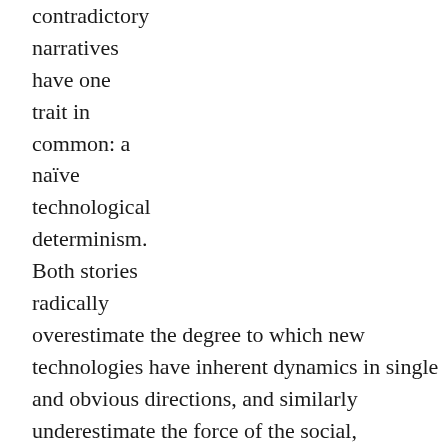contradictory narratives have one trait in common: a naïve technological determinism. Both stories radically overestimate the degree to which new technologies have inherent dynamics in single and obvious directions, and similarly underestimate the force of the social, economic and political contexts in which real human beings design, implement and use new applications to serve existing needs and desires. It is the great strength of this stimulating collection of essays that at every turn it brings